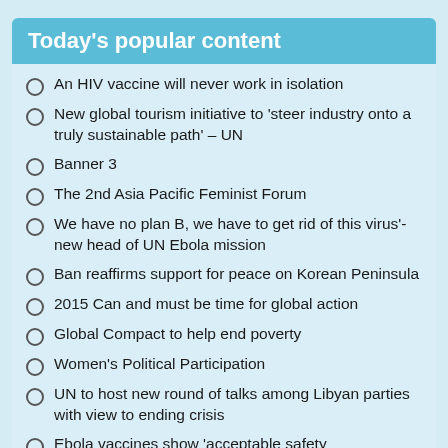Today's popular content
An HIV vaccine will never work in isolation
New global tourism initiative to 'steer industry onto a truly sustainable path' – UN
Banner 3
The 2nd Asia Pacific Feminist Forum
We have no plan B, we have to get rid of this virus'- new head of UN Ebola mission
Ban reaffirms support for peace on Korean Peninsula
2015 Can and must be time for global action
Global Compact to help end poverty
Women's Political Participation
UN to host new round of talks among Libyan parties with view to ending crisis
Ebola vaccines show 'acceptable safety